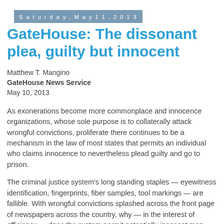Saturday, May 11, 2013
GateHouse: The dissonant plea, guilty but innocent
Matthew T. Mangino
GateHouse News Service
May 10, 2013
As exonerations become more commonplace and innocence organizations, whose sole purpose is to collaterally attack wrongful convictions, proliferate there continues to be a mechanism in the law of most states that permits an individual who claims innocence to nevertheless plead guilty and go to prison.
The criminal justice system’s long standing staples — eyewitness identification, fingerprints, fiber samples, tool markings — are fallible. With wrongful convictions splashed across the front page of newspapers across the country, why — in the interest of efficiency — does the system permit potentially innocent men and women to be locked away?